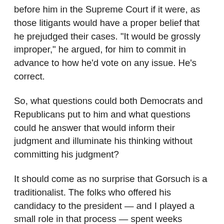before him in the Supreme Court if it were, as those litigants would have a proper belief that he prejudged their cases. "It would be grossly improper," he argued, for him to commit in advance to how he'd vote on any issue. He's correct.
So, what questions could both Democrats and Republicans put to him and what questions could he answer that would inform their judgment and illuminate his thinking without committing his judgment?
It should come as no surprise that Gorsuch is a traditionalist. The folks who offered his candidacy to the president — and I played a small role in that process — spent weeks examining all his public writings, as well as his speeches and lectures, so as to enable them to conclude safely that his 10-year track record as an appellate judge could fairly be a barometer of his likely behavior as a Supreme Court justice. In the process of that examination, the researchers found many similarities in ideas, tone,